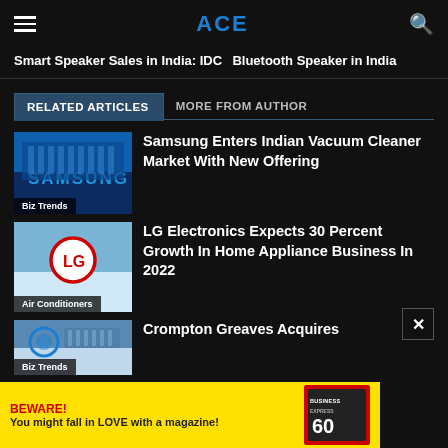ACE
Smart Speaker Sales in India: IDC
Bluetooth Speaker in India
RELATED ARTICLES	MORE FROM AUTHOR
[Figure (photo): Samsung building sign, blue tones]
Samsung Enters Indian Vacuum Cleaner Market With New Offering
Biz Trends
[Figure (photo): LG building sign with red LG logo, blue sky]
LG Electronics Expects 30 Percent Growth In Home Appliance Business In 2022
Air Conditioners
[Figure (photo): Crompton Greaves building with globe logo]
Crompton Greaves Acquires
Biz Trends
[Figure (other): Advertisement banner: BEWARE! You might fall in LOVE with a magazine! with Business Express magazine cover]